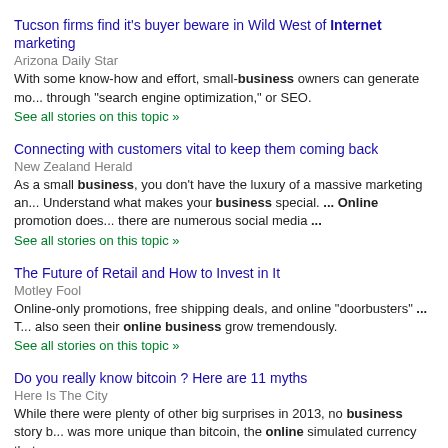Tucson firms find it's buyer beware in Wild West of Internet marketing
Arizona Daily Star
With some know-how and effort, small-business owners can generate mo... through "search engine optimization," or SEO.
See all stories on this topic »
Connecting with customers vital to keep them coming back
New Zealand Herald
As a small business, you don't have the luxury of a massive marketing an... Understand what makes your business special. ... Online promotion does... there are numerous social media ...
See all stories on this topic »
The Future of Retail and How to Invest in It
Motley Fool
Online-only promotions, free shipping deals, and online "doorbusters" ... T... also seen their online business grow tremendously.
See all stories on this topic »
Do you really know bitcoin ? Here are 11 myths
Here Is The City
While there were plenty of other big surprises in 2013, no business story b... was more unique than bitcoin, the online simulated currency that ...
See all stories on this topic »
Business in 90 Seconds
ABC Online